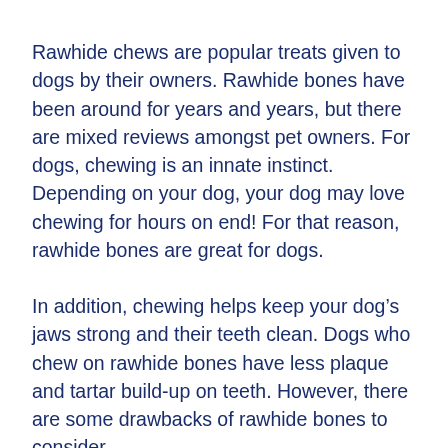Rawhide chews are popular treats given to dogs by their owners. Rawhide bones have been around for years and years, but there are mixed reviews amongst pet owners. For dogs, chewing is an innate instinct. Depending on your dog, your dog may love chewing for hours on end! For that reason, rawhide bones are great for dogs.
In addition, chewing helps keep your dog’s jaws strong and their teeth clean. Dogs who chew on rawhide bones have less plaque and tartar build-up on teeth. However, there are some drawbacks of rawhide bones to consider.